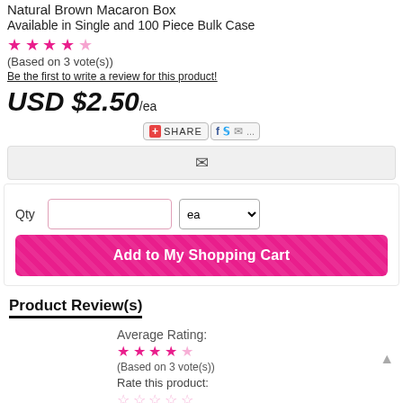Natural Brown Macaron Box
Available in Single and 100 Piece Bulk Case
★ ★ ★ ★ ☆ (Based on 3 vote(s))
Be the first to write a review for this product!
USD $2.50 /ea
[Figure (other): Share button with social icons: Facebook, Twitter, Email]
[Figure (other): Email/envelope icon button bar]
[Figure (other): Quantity input field and unit selector dropdown (ea), plus Add to My Shopping Cart button]
Product Review(s)
Average Rating:
★ ★ ★ ★ ☆ (Based on 3 vote(s))
Rate this product:
☆ ☆ ☆ ☆ ☆